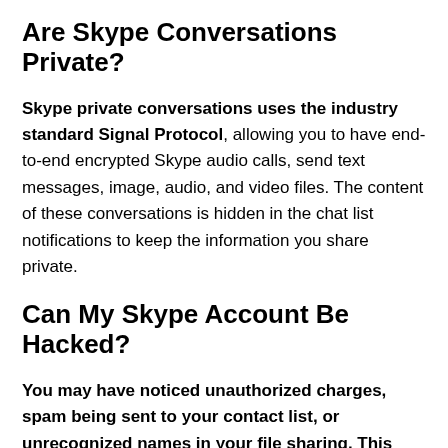Are Skype Conversations Private?
Skype private conversations uses the industry standard Signal Protocol, allowing you to have end-to-end encrypted Skype audio calls, send text messages, image, audio, and video files. The content of these conversations is hidden in the chat list notifications to keep the information you share private.
Can My Skype Account Be Hacked?
You may have noticed unauthorized charges, spam being sent to your contact list, or unrecognized names in your file sharing. This could mean your account has been hacked or compromised. You may have received a message “Help us secure your